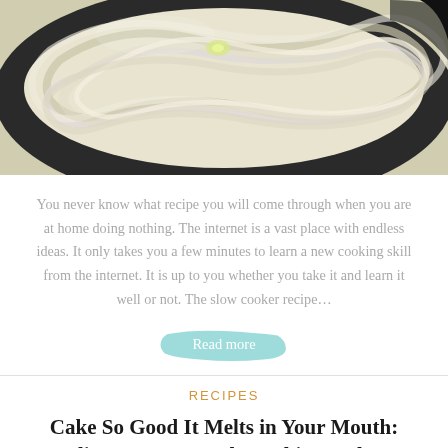[Figure (photo): Close-up photo of sliced white onion rings in a dark bowl]
You never know what recipe you will come through when you are at home doing nothing. The internet is a vast place with endless ideas. It only takes you a few minutes to learn a new cooking skill from the internet. It is up to you whether you take it and learn it well or not. The slow cooker recipe…
Read more
RECIPES
Cake So Good It Melts in Your Mouth: Ingredients Costs Nearly Nothing and It's So Easy to Make